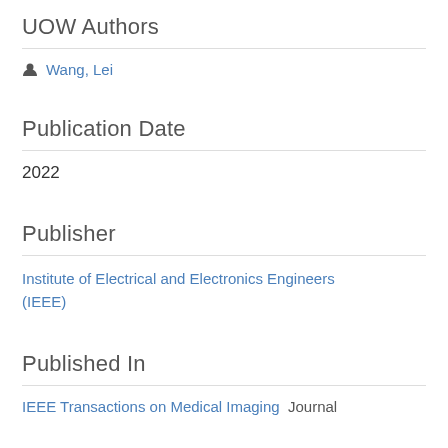UOW Authors
Wang, Lei
Publication Date
2022
Publisher
Institute of Electrical and Electronics Engineers (IEEE)
Published In
IEEE Transactions on Medical Imaging  Journal